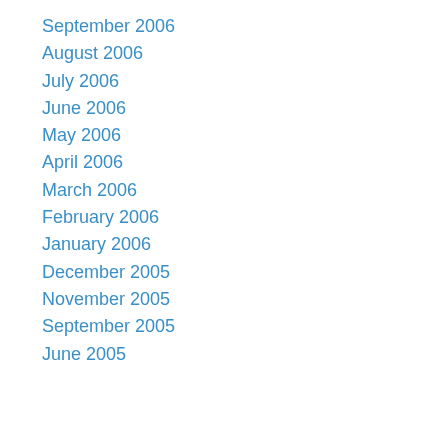September 2006
August 2006
July 2006
June 2006
May 2006
April 2006
March 2006
February 2006
January 2006
December 2005
November 2005
September 2005
June 2005